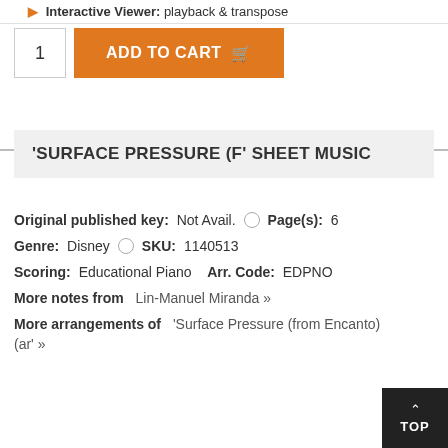Interactive Viewer: playback & transpose
1  ADD TO CART
'SURFACE PRESSURE (F' SHEET MUSIC
Original published key: Not Avail.  ○  Page(s): 6
Genre: Disney  ○  SKU: 1140513
Scoring: Educational Piano  Arr. Code: EDPNO
More notes from Lin-Manuel Miranda »
More arrangements of 'Surface Pressure (from Encanto) (ar' »